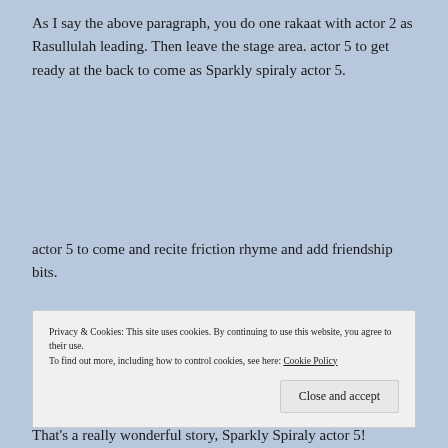As I say the above paragraph, you do one rakaat with actor 2 as Rasullulah leading. Then leave the stage area. actor 5 to get ready at the back to come as Sparkly spiraly actor 5.
actor 5 to come and recite friction rhyme and add friendship bits.
Privacy & Cookies: This site uses cookies. By continuing to use this website, you agree to their use.
To find out more, including how to control cookies, see here: Cookie Policy
That's a really wonderful story, Sparkly Spiraly actor 5!